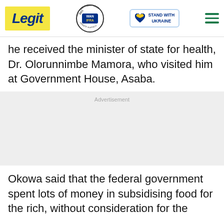Legit | WAN-IFRA 2021 Best News Website in Africa | Stand with Ukraine
he received the minister of state for health, Dr. Olorunnimbe Mamora, who visited him at Government House, Asaba.
Advertisement
Okowa said that the federal government spent lots of money in subsidising food for the rich, without consideration for the